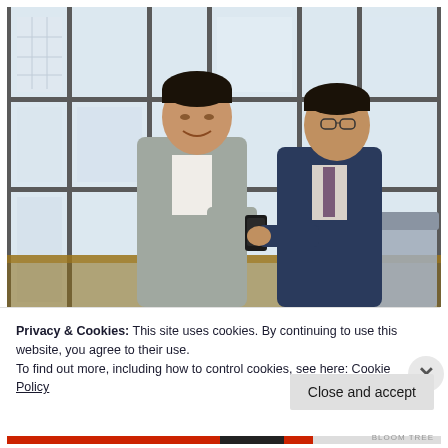[Figure (photo): Two Asian businessmen in suits standing in a modern office with large windows. The man on the left wears a light gray suit and is smiling while holding a smartphone. The man on the right wears a dark navy suit with glasses and is looking at the phone. There is a conference table and chairs visible.]
Privacy & Cookies: This site uses cookies. By continuing to use this website, you agree to their use.
To find out more, including how to control cookies, see here: Cookie Policy